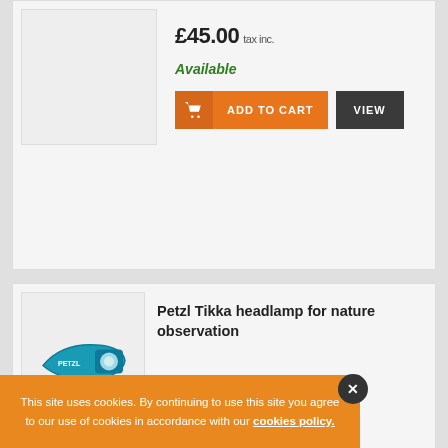£45.00 tax inc.
Available
ADD TO CART
VIEW
Petzl Tikka headlamp for nature observation
£29.00 tax inc.
This site uses cookies. By continuing to use this site you agree to our use of cookies in accordance with our cookies policy.